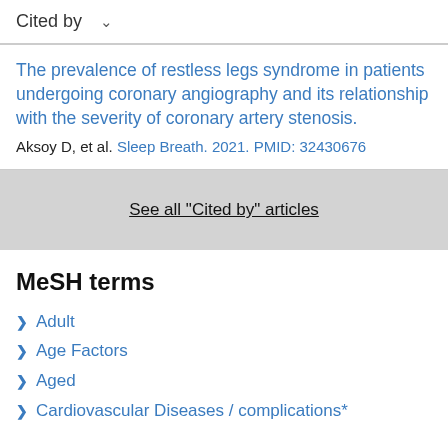Cited by
The prevalence of restless legs syndrome in patients undergoing coronary angiography and its relationship with the severity of coronary artery stenosis.
Aksoy D, et al. Sleep Breath. 2021. PMID: 32430676
See all "Cited by" articles
MeSH terms
Adult
Age Factors
Aged
Cardiovascular Diseases / complications*